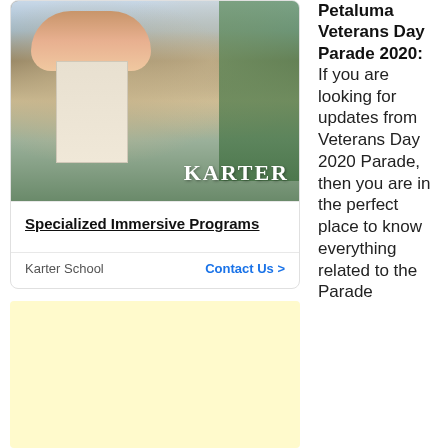[Figure (photo): Photo of a decorative indoor space with a large mushroom-shaped kiosk/pavilion in warm colors, white ornate structures, Christmas decorations, and a green floral wall with 'KARTER' letters in white on the right side.]
Specialized Immersive Programs
Karter School    Contact Us >
Petaluma Veterans Day Parade 2020: If you are looking for updates from Veterans Day 2020 Parade, then you are in the perfect place to know everything related to the Parade